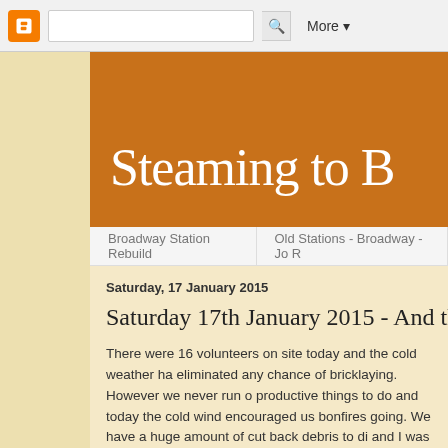[Figure (screenshot): Blogger navigation bar with orange icon, search box with magnifying glass, and More dropdown button]
Steaming to B
Broadway Station Rebuild | Old Stations - Broadway - Jo R
Saturday, 17 January 2015
Saturday 17th January 2015 - And the
There were 16 volunteers on site today and the cold weather ha eliminated any chance of bricklaying.  However we never run o productive things to do and today the cold wind encouraged us bonfires going. We have a huge amount of cut back debris to di and I was impressed with how well the fires burned and consum There were four fires going in total - here Clive giving his Gnom impression is working with Roger J, Jo ,Dave B to keep the upp